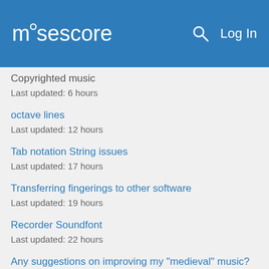musescore  Log In
Copyrighted music
Last updated: 6 hours
octave lines
Last updated: 12 hours
Tab notation String issues
Last updated: 17 hours
Transferring fingerings to other software
Last updated: 19 hours
Recorder Soundfont
Last updated: 22 hours
Any suggestions on improving my "medieval" music?
Last updated: 1 day
Default style
Last updated: 1 day
Quickly adding fingerings
Last updated: 1 day